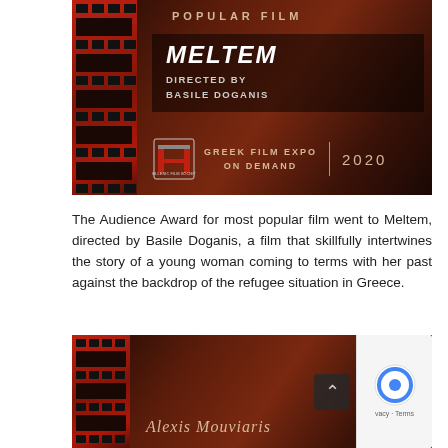[Figure (photo): Award banner for most popular film at Greek Film Expo On Demand 2020, featuring film title MELTEM directed by Basile Doganis, with Hellenic Film Society logo, dark brown/red background with film strip on left side.]
The Audience Award for most popular film went to Meltem, directed by Basile Doganis, a film that skillfully intertwines the story of a young woman coming to terms with her past against the backdrop of the refugee situation in Greece.
[Figure (photo): Partial banner for Alexis Mouviaris with same dark brown/red background and film strip design, partially cut off at bottom of page.]